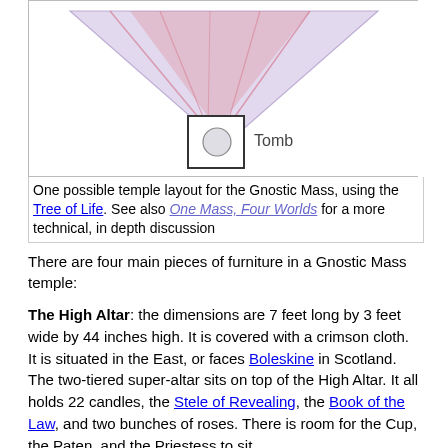[Figure (schematic): Temple layout diagram showing triangular shapes in lavender and pink above a small square labeled 'Tomb' with a circle inside, representing a Gnostic Mass temple layout using the Tree of Life.]
One possible temple layout for the Gnostic Mass, using the Tree of Life. See also One Mass, Four Worlds for a more technical, in depth discussion
There are four main pieces of furniture in a Gnostic Mass temple:
The High Altar: the dimensions are 7 feet long by 3 feet wide by 44 inches high. It is covered with a crimson cloth. It is situated in the East, or faces Boleskine in Scotland. The two-tiered super-altar sits on top of the High Altar. It all holds 22 candles, the Stele of Revealing, the Book of the Law, and two bunches of roses. There is room for the Cup, the Paten, and the Priestess to sit.
The High Altar is contained within a great Veil, and sits on a dais with three steps. On either side of the High Altar are two pillars, countercharged in black and white.
The Altar of Incense: to the West of the Dais is a black altar made of superimposed cubes.